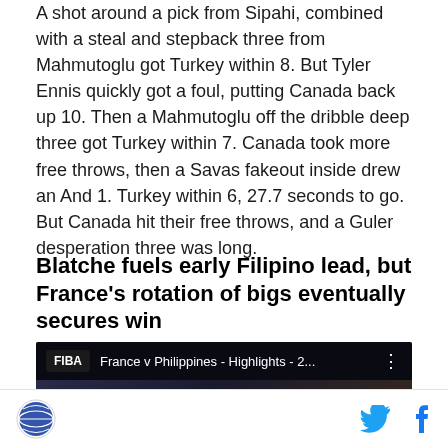A shot around a pick from Sipahi, combined with a steal and stepback three from Mahmutoglu got Turkey within 8. But Tyler Ennis quickly got a foul, putting Canada back up 10. Then a Mahmutoglu off the dribble deep three got Turkey within 7. Canada took more free throws, then a Savas fakeout inside drew an And 1. Turkey within 6, 27.7 seconds to go. But Canada hit their free throws, and a Guler desperation three was long.
Blatche fuels early Filipino lead, but France's rotation of bigs eventually secures win
[Figure (screenshot): Video thumbnail showing France v Philippines - Highlights - 2... with FIBA logo, dark arena background, basketball, and #FIBAOOT hashtag overlay]
Social icons: Twitter, Facebook. Site logo (circular icon with globe/basketball motif).